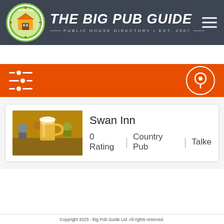[Figure (logo): The Big Pub Guide logo with circular emblem and text. Public House Directory - Est. 2007]
THE BIG PUB GUIDE · PUBLIC HOUSE DIRECTORY · EST. 2007
[Figure (infographic): Orange filter/search bar with slider icon on left and map pin button on right]
Swan Inn
0 Rating | Country Pub | Talke
Copyright 2023 - Big Pub Guide Ltd. All rights reserved.